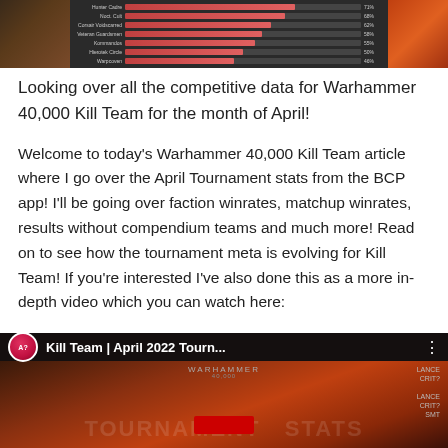[Figure (infographic): Top banner image with Warhammer 40,000 Kill Team artwork on left and right sides, with a horizontal bar chart in the center showing faction win rates on a dark background]
Looking over all the competitive data for Warhammer 40,000 Kill Team for the month of April!
Welcome to today's Warhammer 40,000 Kill Team article where I go over the April Tournament stats from the BCP app! I'll be going over faction winrates, matchup winrates, results without compendium teams and much more! Read on to see how the tournament meta is evolving for Kill Team! If you're interested I've also done this as a more in-depth video which you can watch here:
[Figure (screenshot): YouTube video thumbnail showing 'Kill Team | April 2022 Tourn...' with Warhammer 40,000 artwork, showing a lion/warrior image with 'TOURNAMENT STATS' text at the bottom]